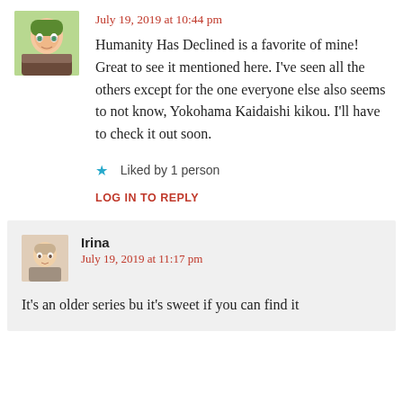July 19, 2019 at 10:44 pm
Humanity Has Declined is a favorite of mine! Great to see it mentioned here. I've seen all the others except for the one everyone else also seems to not know, Yokohama Kaidaishi kikou. I'll have to check it out soon.
Liked by 1 person
LOG IN TO REPLY
Irina
July 19, 2019 at 11:17 pm
It's an older series bu it's sweet if you can find it